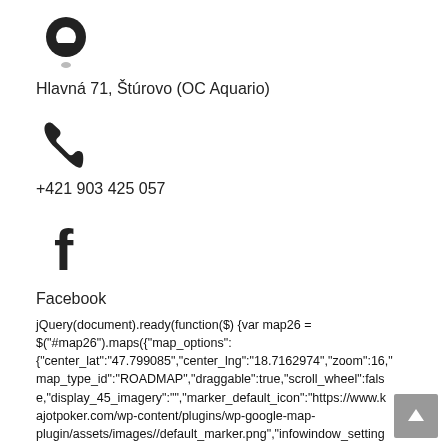[Figure (other): Location pin icon (map marker)]
Hlavná 71, Štúrovo (OC Aquario)
[Figure (other): Phone handset icon]
+421 903 425 057
[Figure (other): Facebook logo icon]
Facebook
jQuery(document).ready(function($) {var map26 = $("#map26").maps({"map_options": {"center_lat":"47.799085","center_lng":"18.7162974","zoom":16,"map_type_id":"ROADMAP","draggable":true,"scroll_wheel":false,"display_45_imagery":"","marker_default_icon":"https://www.kajotpoker.com/wp-content/plugins/wp-google-map-plugin/assets/images//default_marker.png","infowindow_settings